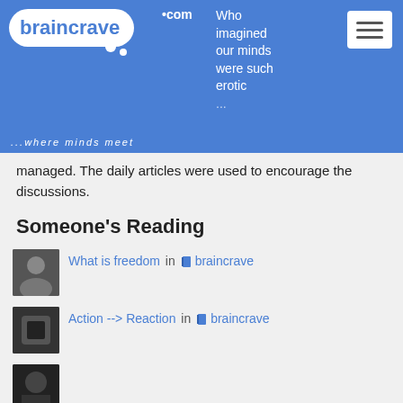braincrave.com ...where minds meet | Who imagined our minds were such erotic...
managed. The daily articles were used to encourage the discussions.
Someone's Reading
What is freedom in braincrave
Action --> Reaction in braincrave
I'm as mad as hell and I'm not gonna take this anymore in braincrave
DNA collection in braincrave
TIL there are 100+ octillion moves in chess in braincrave